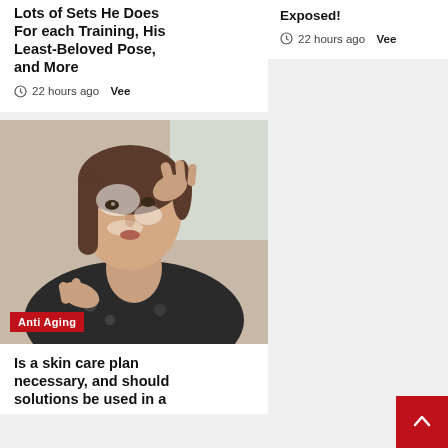Lots of Sets He Does For each Training, His Least-Beloved Pose, and More
22 hours ago  Vee
Exposed!
22 hours ago  Vee
[Figure (photo): Woman applying face cream or face mask with both hands, wearing a dark floral top, with 'Anti Aging' badge overlay]
Is a skin care plan necessary, and should solutions be used in a